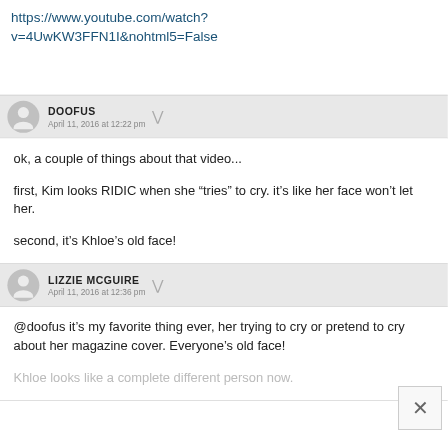https://www.youtube.com/watch?v=4UwKW3FFN1I&nohtml5=False
DOOFUS
April 11, 2016 at 12:22 pm
ok, a couple of things about that video...

first, Kim looks RIDIC when she “tries” to cry. it’s like her face won’t let her.

second, it’s Khloe’s old face!
LIZZIE MCGUIRE
April 11, 2016 at 12:36 pm
@doofus it’s my favorite thing ever, her trying to cry or pretend to cry about her magazine cover. Everyone’s old face! Khloe looks like a complete different person now.